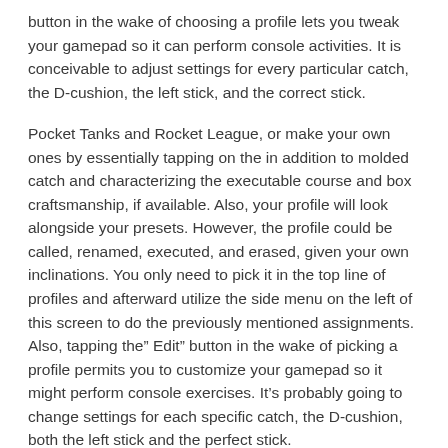button in the wake of choosing a profile lets you tweak your gamepad so it can perform console activities. It is conceivable to adjust settings for every particular catch, the D-cushion, the left stick, and the correct stick.
Pocket Tanks and Rocket League, or make your own ones by essentially tapping on the in addition to molded catch and characterizing the executable course and box craftsmanship, if available. Also, your profile will look alongside your presets. However, the profile could be called, renamed, executed, and erased, given your own inclinations. You only need to pick it in the top line of profiles and afterward utilize the side menu on the left of this screen to do the previously mentioned assignments. Also, tapping the” Edit” button in the wake of picking a profile permits you to customize your gamepad so it might perform console exercises. It’s probably going to change settings for each specific catch, the D-cushion, both the left stick and the perfect stick.